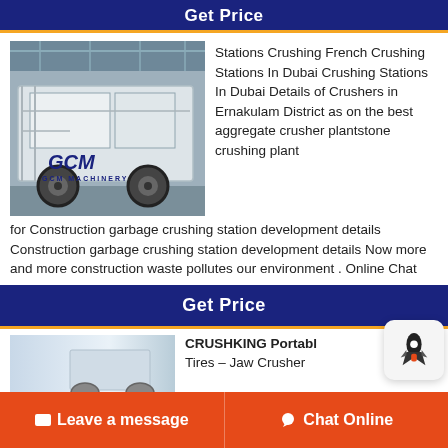Get Price
[Figure (photo): Industrial crushing machine/plant on a trailer with large wheels, GCM brand logo visible, inside a factory/warehouse setting]
Stations Crushing French Crushing Stations In Dubai Crushing Stations In Dubai Details of Crushers in Ernakulam District as on the best aggregate crusher plantstone crushing plant for Construction garbage crushing station development details Construction garbage crushing station development details Now more and more construction waste pollutes our environment . Online Chat
Get Price
[Figure (photo): Partial image of a crushing machine, light blue/grey background]
CRUSHKING Portable Tires – Jaw Crusher
Leave a message   Chat Online